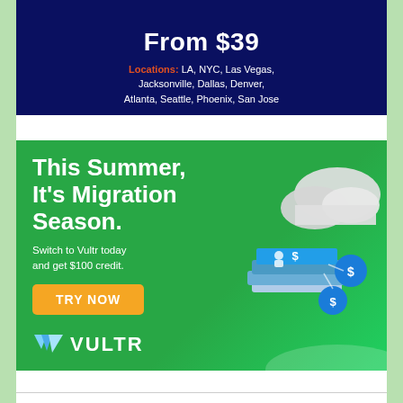[Figure (infographic): Dark blue banner with bold white text 'From $39' and locations listed in white text with red label 'Locations:']
[Figure (infographic): Green Vultr advertisement banner: 'This Summer, It's Migration Season. Switch to Vultr today and get $100 credit.' with orange TRY NOW button and Vultr logo, plus cloud/server illustration]